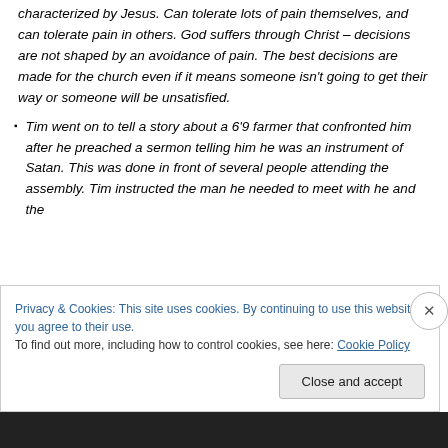characterized by Jesus. Can tolerate lots of pain themselves, and can tolerate pain in others. God suffers through Christ – decisions are not shaped by an avoidance of pain. The best decisions are made for the church even if it means someone isn't going to get their way or someone will be unsatisfied.
Tim went on to tell a story about a 6'9 farmer that confronted him after he preached a sermon telling him he was an instrument of Satan. This was done in front of several people attending the assembly. Tim instructed the man he needed to meet with he and the
Privacy & Cookies: This site uses cookies. By continuing to use this website, you agree to their use.
To find out more, including how to control cookies, see here: Cookie Policy